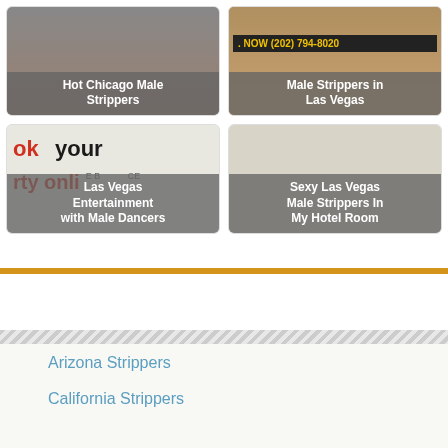[Figure (screenshot): Card with image: Hot Chicago Male Strippers]
Hot Chicago Male Strippers
[Figure (screenshot): Card with phone number banner and image: Male Strippers in Las Vegas]
Male Strippers in Las Vegas
[Figure (screenshot): Card showing book your party online text: Las Vegas Entertainment with Male Dancers]
Las Vegas Entertainment with Male Dancers
[Figure (screenshot): Card with blank/light background: Sexy Las Vegas Male Strippers In My Hotel Room]
Sexy Las Vegas Male Strippers In My Hotel Room
Arizona Strippers
California Strippers